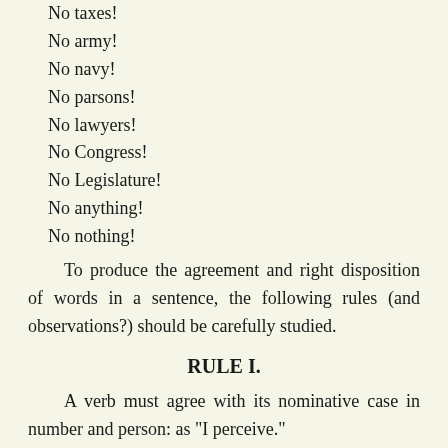No taxes!
No army!
No navy!
No parsons!
No lawyers!
No Congress!
No Legislature!
No anything!
No nothing!
To produce the agreement and right disposition of words in a sentence, the following rules (and observations?) should be carefully studied.
RULE I.
A verb must agree with its nominative case in number and person: as "I perceive."
"Thou hast been to Boston."
"Apes chatter."
"Frenchmen gabble."
Certain liberties are sometimes taken with this rule: as, "I own I likes good beer."